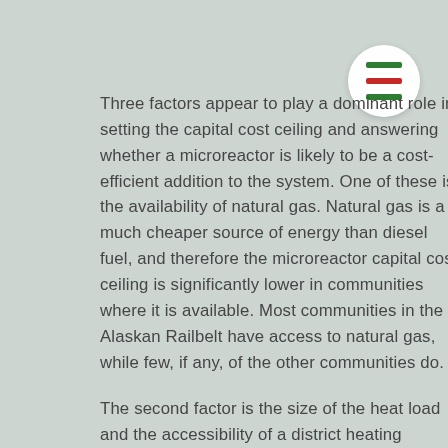Three factors appear to play a dominant role in setting the capital cost ceiling and answering whether a microreactor is likely to be a cost-efficient addition to the system. One of these is the availability of natural gas. Natural gas is a much cheaper source of energy than diesel fuel, and therefore the microreactor capital cost ceiling is significantly lower in communities where it is available. Most communities in the Alaskan Railbelt have access to natural gas, while few, if any, of the other communities do.
The second factor is the size of the heat load and the accessibility of a district heating network. In our results, the capital cost ceiling was much higher in scenarios where a microreactor's waste heat was